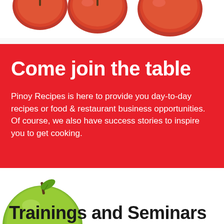[Figure (photo): Partial view of red fruits (tomatoes or red apples) at the top of the page on white background]
Come join the table
Pinoy Recipes is here to provide you day-to-day recipes or food & restaurant business opportunities. Of course, we also have success stories to inspire you to get cooking.
[Figure (photo): Green apple on white background, partially visible at bottom left]
Trainings and Seminars